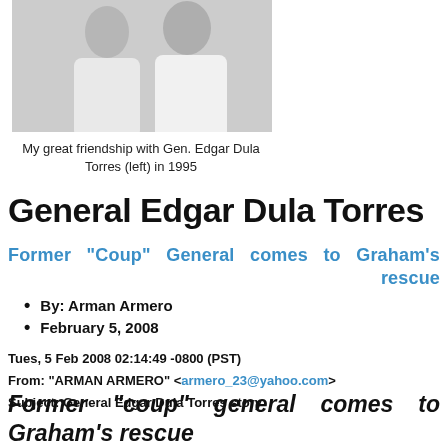[Figure (photo): Black and white photo of two people, likely men, in white shirts - My great friendship with Gen. Edgar Dula Torres (left) in 1995]
My great friendship with Gen. Edgar Dula Torres (left) in 1995
General Edgar Dula Torres
Former "Coup" General comes to Graham's rescue
By: Arman Armero
February 5, 2008
Tues, 5 Feb 2008 02:14:49 -0800 (PST)
From: "ARMAN ARMERO" <armero_23@yahoo.com>
Subject: General Edgar Dula Torres story
Former "coup" general comes to Graham's rescue